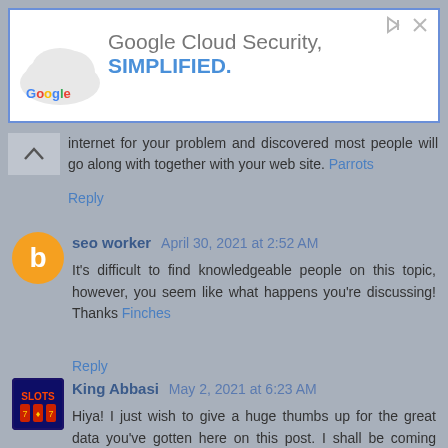[Figure (other): Google Cloud Security advertisement banner with cloud icon, Google logo, and text 'Google Cloud Security, SIMPLIFIED.']
internet for your problem and discovered most people will go along with together with your web site. Parrots
Reply
seo worker April 30, 2021 at 2:52 AM
It's difficult to find knowledgeable people on this topic, however, you seem like what happens you're discussing! Thanks Finches
Reply
King Abbasi May 2, 2021 at 6:23 AM
Hiya! I just wish to give a huge thumbs up for the great data you've gotten here on this post. I shall be coming back to your weblog for more soon. buy youtube comments
Reply